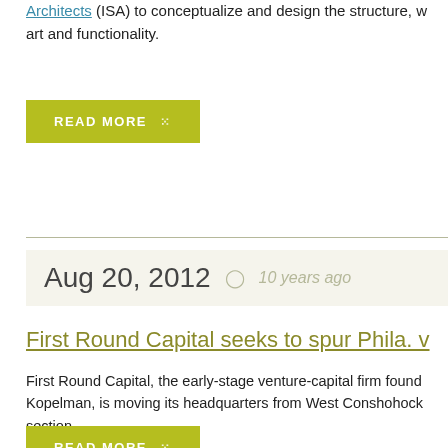Architects (ISA) to conceptualize and design the structure, w art and functionality.
READ MORE
Aug 20, 2012  10 years ago
First Round Capital seeks to spur Phila. v
First Round Capital, the early-stage venture-capital firm found Kopelman, is moving its headquarters from West Conshohock section.
READ MORE